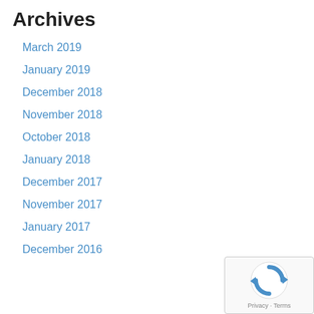Archives
March 2019
January 2019
December 2018
November 2018
October 2018
January 2018
December 2017
November 2017
January 2017
December 2016